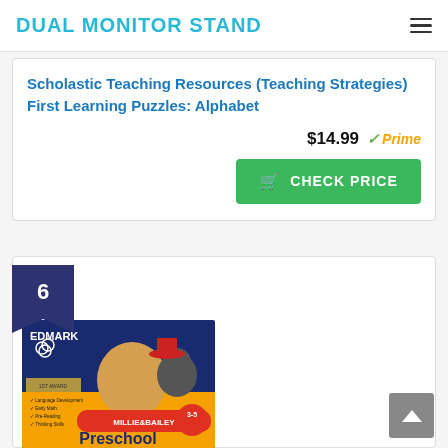DUAL MONITOR STAND
Scholastic Teaching Resources (Teaching Strategies) First Learning Puzzles: Alphabet
$14.99 Prime
CHECK PRICE
6
[Figure (photo): Edmark Millie & Bailey Preschool 3-5 educational software box art showing cartoon animal characters]